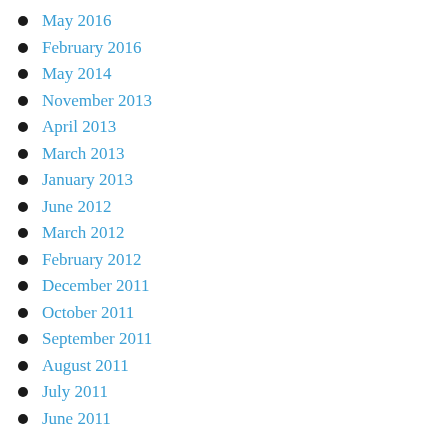May 2016
February 2016
May 2014
November 2013
April 2013
March 2013
January 2013
June 2012
March 2012
February 2012
December 2011
October 2011
September 2011
August 2011
July 2011
June 2011